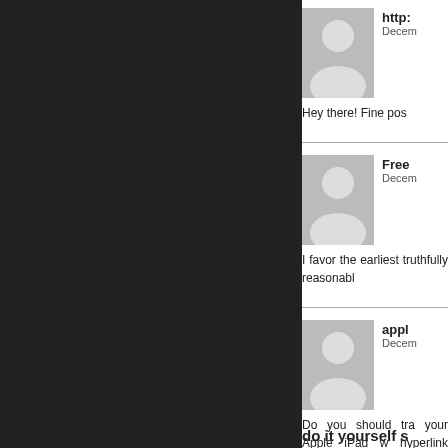[Figure (other): Dark left panel background]
http:
Decem
Hey there! Fine pos
Free
Decem
I favor the earliest truthfully reasonabl
appl
Decem
Do you should tra your Apple iPad w hyperlink between date, music and no
do it yourself s